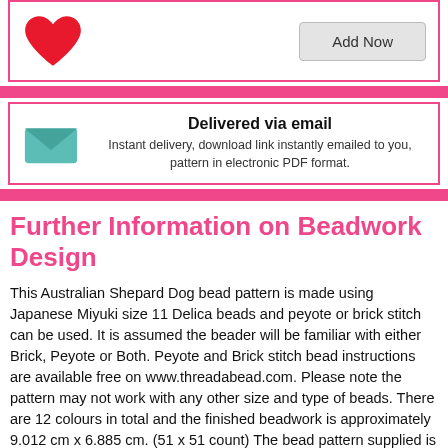[Figure (illustration): Red heart icon in top-left card area]
Add Now
[Figure (illustration): Teal envelope/mail icon]
Delivered via email
Instant delivery, download link instantly emailed to you, pattern in electronic PDF format.
Further Information on Beadwork Design
This Australian Shepard Dog bead pattern is made using Japanese Miyuki size 11 Delica beads and peyote or brick stitch can be used. It is assumed the beader will be familiar with either Brick, Peyote or Both. Peyote and Brick stitch bead instructions are available free on www.threadabead.com. Please note the pattern may not work with any other size and type of beads. There are 12 colours in total and the finished beadwork is approximately 9.012 cm x 6.885 cm. (51 x 51 count) The bead pattern supplied is 5 pages and includes a colour chart of suggested